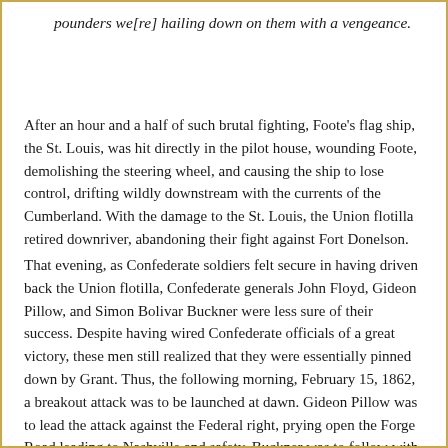pounders we[re] hailing down on them with a vengeance.
After an hour and a half of such brutal fighting, Foote's flag ship, the St. Louis, was hit directly in the pilot house, wounding Foote, demolishing the steering wheel, and causing the ship to lose control, drifting wildly downstream with the currents of the Cumberland. With the damage to the St. Louis, the Union flotilla retired downriver, abandoning their fight against Fort Donelson.
That evening, as Confederate soldiers felt secure in having driven back the Union flotilla, Confederate generals John Floyd, Gideon Pillow, and Simon Bolivar Buckner were less sure of their success. Despite having wired Confederate officials of a great victory, these men still realized that they were essentially pinned down by Grant. Thus, the following morning, February 15, 1862, a breakout attack was to be launched at dawn. Gideon Pillow was to lead the attack against the Federal right, prying open the Forge Road leading to Nashville and safety. Buckner was to follow with the troops from the Confederate right, providing a wedge to keep the escape road open for Pillow's men to leave the fort. Floyd, Pillow, and Buckner